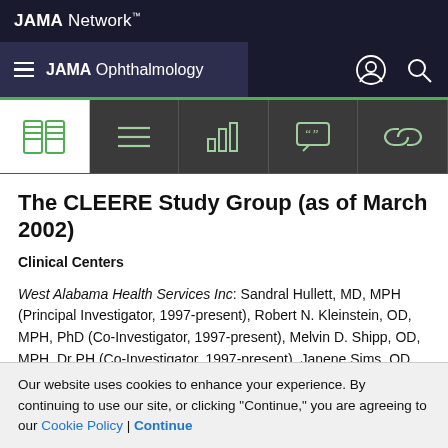JAMA Network
JAMA Ophthalmology
The CLEERE Study Group (as of March 2002)
Clinical Centers
West Alabama Health Services Inc: Sandral Hullett, MD, MPH (Principal Investigator, 1997-present), Robert N. Kleinstein, OD, MPH, PhD (Co-Investigator, 1997-present), Melvin D. Shipp, OD, MPH, Dr PH (Co-Investigator, 1997-present), Janene Sims, OD (Optometrist, 1997-2001),
Our website uses cookies to enhance your experience. By continuing to use our site, or clicking "Continue," you are agreeing to our Cookie Policy | Continue